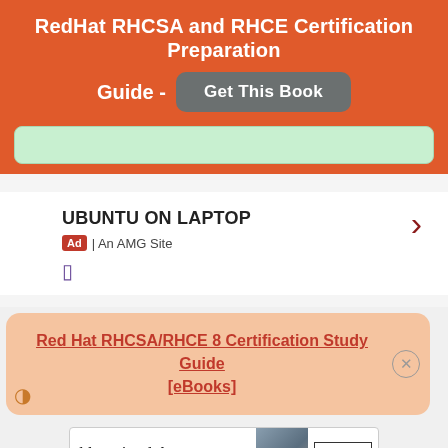RedHat RHCSA and RHCE Certification Preparation Guide - Get This Book
[Figure (other): Green placeholder banner bar]
UBUNTU ON LAPTOP
Ad | An AMG Site
Red Hat RHCSA/RHCE 8 Certification Study Guide [eBooks]
[Figure (other): Bloomingdale's advertisement banner: View Today's Top Deals! SHOP NOW >]